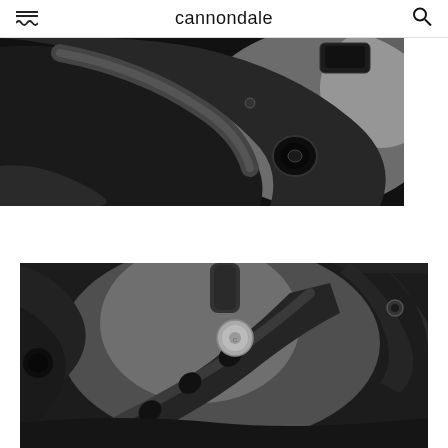cannondale
[Figure (photo): Close-up macro photograph of a black matte bicycle handlebar stem junction, showing the curved carbon fiber tube with cable ports and mounting hardware, on a light gray background.]
[Figure (photo): Close-up macro photograph of a black matte bicycle crank arm and bottom bracket assembly, showing the spider arms with cutouts, a silver bolt, and mechanical linkage detail on a light background.]